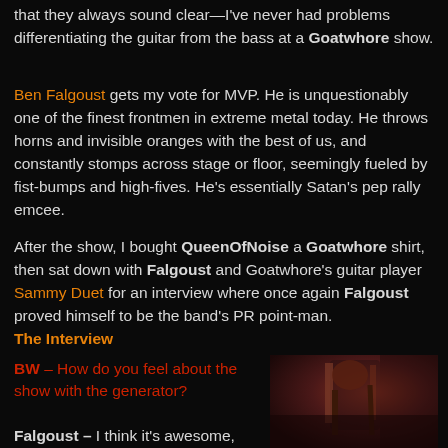that they always sound clear—I've never had problems differentiating the guitar from the bass at a Goatwhore show.
Ben Falgoust gets my vote for MVP. He is unquestionably one of the finest frontmen in extreme metal today. He throws horns and invisible oranges with the best of us, and constantly stomps across stage or floor, seemingly fueled by fist-bumps and high-fives. He's essentially Satan's pep rally emcee.
After the show, I bought QueenOfNoise a Goatwhore shirt, then sat down with Falgoust and Goatwhore's guitar player Sammy Duet for an interview where once again Falgoust proved himself to be the band's PR point-man.
The Interview
BW – How do you feel about the show with the generator?
Falgoust – I think it's awesome, man. It turned out really fucking good.
[Figure (photo): Dark reddish-toned concert or backstage photo showing a performer]